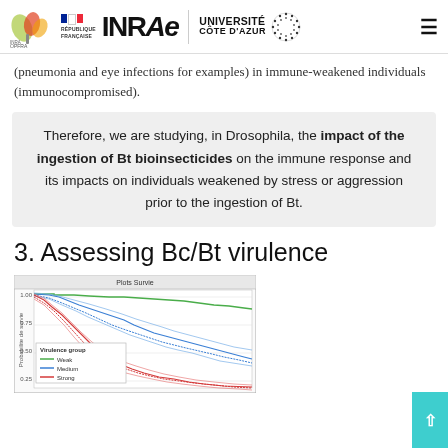INRAE | UNIVERSITÉ CÔTE D'AZUR
(pneumonia and eye infections for examples) in immune-weakened individuals (immunocompromised).
Therefore, we are studying, in Drosophila, the impact of the ingestion of Bt bioinsecticides on the immune response and its impacts on individuals weakened by stress or aggression prior to the ingestion of Bt.
3. Assessing Bc/Bt virulence
[Figure (continuous-plot): Kaplan-Meier survival curve titled 'Plots Survie' showing probability of survival over time for three virulence groups: Weak (green line, highest survival), Medium (blue lines), and Strong (red lines, lowest survival). Y-axis labeled 'Probabilite de survie', ranging from ~0.25 to 1.00.]